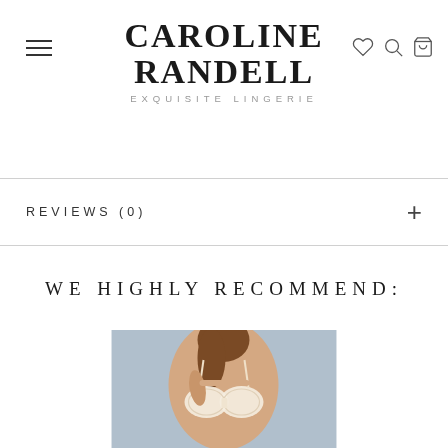CAROLINE RANDELL EXQUISITE LINGERIE
REVIEWS (0)
WE HIGHLY RECOMMEND:
[Figure (photo): Woman wearing a cream lace bra, posing against a blue background]